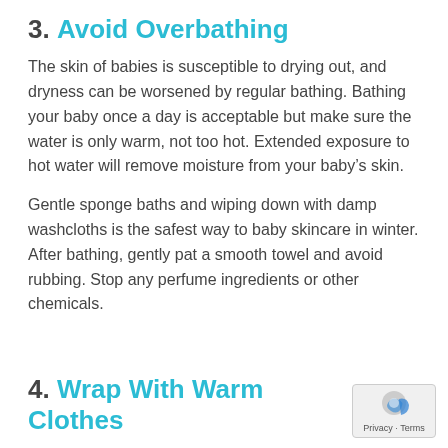3. Avoid Overbathing
The skin of babies is susceptible to drying out, and dryness can be worsened by regular bathing. Bathing your baby once a day is acceptable but make sure the water is only warm, not too hot. Extended exposure to hot water will remove moisture from your baby’s skin.
Gentle sponge baths and wiping down with damp washcloths is the safest way to baby skincare in winter. After bathing, gently pat a smooth towel and avoid rubbing. Stop any perfume ingredients or other chemicals.
4. Wrap With Warm Clothes